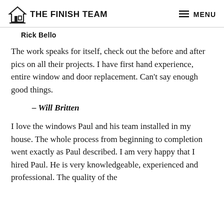THE FINISH TEAM  MENU
Rick Bello
The work speaks for itself, check out the before and after pics on all their projects. I have first hand experience, entire window and door replacement. Can't say enough good things.
– Will Britten
I love the windows Paul and his team installed in my house. The whole process from beginning to completion went exactly as Paul described. I am very happy that I hired Paul. He is very knowledgeable, experienced and professional. The quality of the